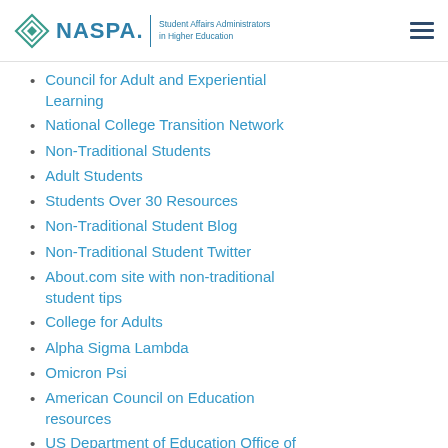NASPA | Student Affairs Administrators in Higher Education
Council for Adult and Experiential Learning
National College Transition Network
Non-Traditional Students
Adult Students
Students Over 30 Resources
Non-Traditional Student Blog
Non-Traditional Student Twitter
About.com site with non-traditional student tips
College for Adults
Alpha Sigma Lambda
Omicron Psi
American Council on Education resources
US Department of Education Office of